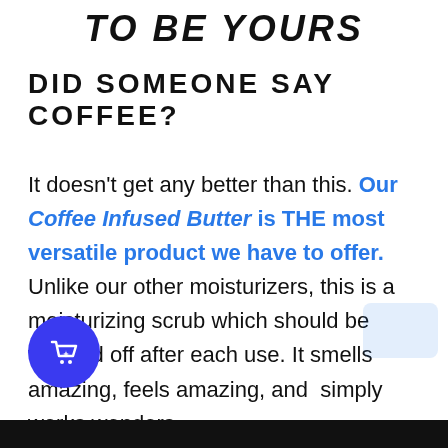TO BE YOURS
DID SOMEONE SAY COFFEE?
It doesn't get any better than this. Our Coffee Infused Butter is THE most versatile product we have to offer. Unlike our other moisturizers, this is a moisturizing scrub which should be washed off after each use. It smells amazing, feels amazing, and simply works wonders.